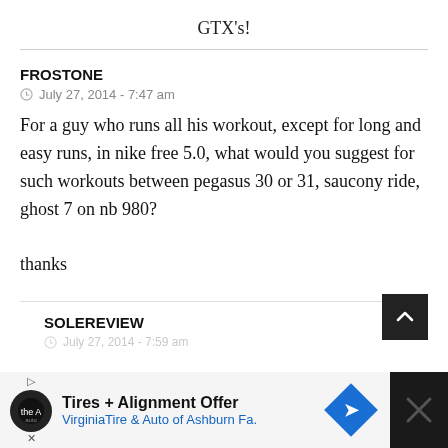GTX's!
FROSTONE
July 27, 2014 - 7:47 am
For a guy who runs all his workout, except for long and easy runs, in nike free 5.0, what would you suggest for such workouts between pegasus 30 or 31, saucony ride, ghost 7 on nb 980?

thanks
SOLEREVIEW
July 27, 2014 - 7:59 am
[Figure (other): Advertisement banner: Tires + Alignment Offer – VirginiaTire & Auto of Ashburn Fa.]